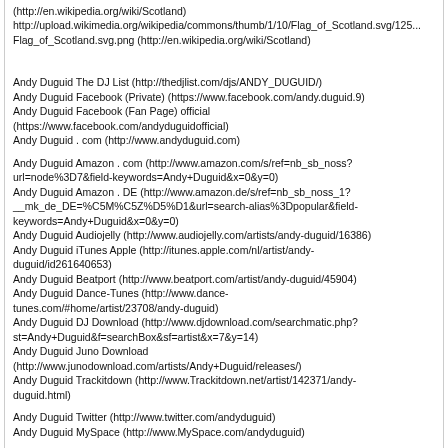(http://en.wikipedia.org/wiki/Scotland)
http://upload.wikimedia.org/wikipedia/commons/thumb/1/10/Flag_of_Scotland.svg/125...
Flag_of_Scotland.svg.png (http://en.wikipedia.org/wiki/Scotland)
Andy Duguid The DJ List (http://thedjlist.com/djs/ANDY_DUGUID/)
Andy Duguid Facebook (Private) (https://www.facebook.com/andy.duguid.9)
Andy Duguid Facebook (Fan Page) official (https://www.facebook.com/andyduguidofficial)
Andy Duguid . com (http://www.andyduguid.com)
Andy Duguid Amazon . com (http://www.amazon.com/s/ref=nb_sb_noss?url=node%3D7&field-keywords=Andy+Duguid&x=0&y=0)
Andy Duguid Amazon . DE (http://www.amazon.de/s/ref=nb_sb_noss_1?__mk_de_DE=%C5M%C5Z%D5%D1&url=search-alias%3Dpopular&field-keywords=Andy+Duguid&x=0&y=0)
Andy Duguid Audiojelly (http://www.audiojelly.com/artists/andy-duguid/16386)
Andy Duguid iTunes Apple (http://itunes.apple.com/nl/artist/andy-duguid/id261640653)
Andy Duguid Beatport (http://www.beatport.com/artist/andy-duguid/45904)
Andy Duguid Dance-Tunes (http://www.dance-tunes.com/#home/artist/23708/andy-duguid)
Andy Duguid DJ Download (http://www.djdownload.com/searchmatic.php?st=Andy+Duguid&f=searchBox&sf=artist&x=7&y=14)
Andy Duguid Juno Download (http://www.junodownload.com/artists/Andy+Duguid/releases/)
Andy Duguid Trackitdown (http://www.Trackitdown.net/artist/142371/andy-duguid.html)
Andy Duguid Twitter (http://www.twitter.com/andyduguid)
Andy Duguid MySpace (http://www.MySpace.com/andyduguid)